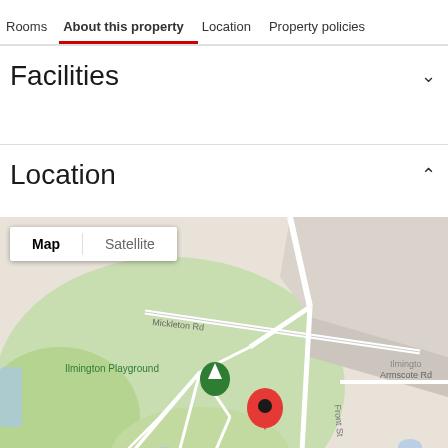Rooms   About this property   Location   Property policies
Facilities
Location
[Figure (map): Google map showing Ilmington village area with a red location pin on Front St near Ilmington Playground. Map/Satellite toggle visible at top left. Roads labeled include Mickleton Rd, Armscote Rd, Front St. Green areas visible.]